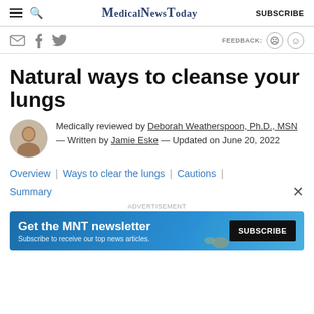MedicalNewsToday — SUBSCRIBE
[Figure (screenshot): Social share icons (email, Facebook, Twitter) and feedback buttons (sad face, happy face) bar]
Natural ways to cleanse your lungs
Medically reviewed by Deborah Weatherspoon, Ph.D., MSN — Written by Jamie Eske — Updated on June 20, 2022
Overview | Ways to clear the lungs | Cautions | Summary
[Figure (infographic): Advertisement banner: Get the MNT newsletter. Subscribe to receive our top news articles. SUBSCRIBE button.]